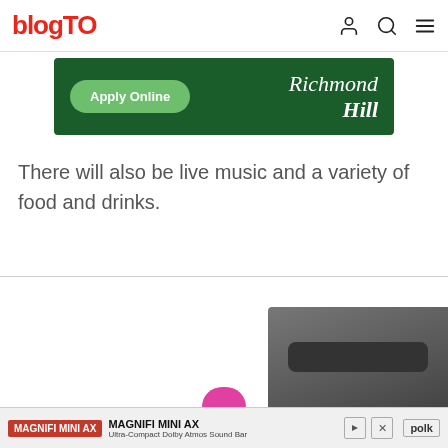blogTO
[Figure (screenshot): Richmond Hill Apply Online advertisement banner with green background, rounded Apply Online button, and Richmond Hill logo in white italic script]
There will also be live music and a variety of food and drinks.
[Figure (photo): Large image area, partially visible, content area below divider]
[Figure (screenshot): MAGNIFI MINI AX Ultra-Compact Dolby Atmos Sound Bar advertisement banner by Polk at bottom of page]